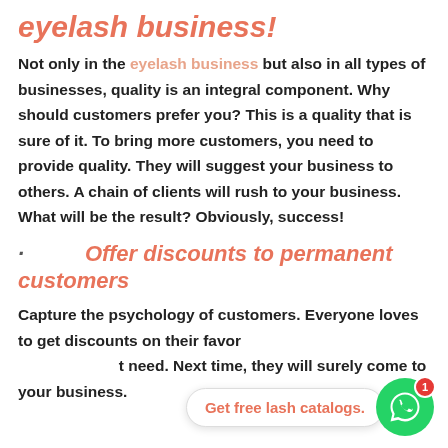eyelash business!
Not only in the eyelash business but also in all types of businesses, quality is an integral component. Why should customers prefer you? This is a quality that is sure of it. To bring more customers, you need to provide quality. They will suggest your business to others. A chain of clients will rush to your business. What will be the result? Obviously, success!
· Offer discounts to permanent customers
Capture the psychology of customers. Everyone loves to get discounts on their favorite products. Offer discounts that they need. Next time, they will surely come to your business.
[Figure (other): WhatsApp chat bubble with text 'Get free lash catalogs.' and green WhatsApp icon with red notification badge showing 1]